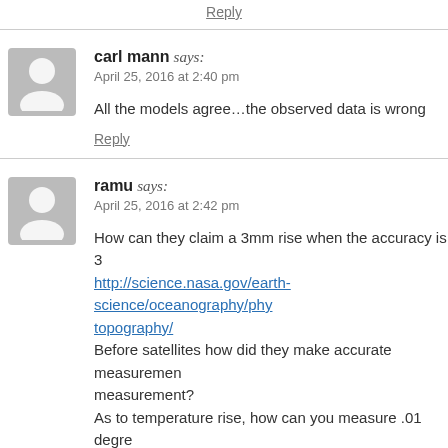Reply
carl mann says:
April 25, 2016 at 2:40 pm
All the models agree…the observed data is wrong
Reply
ramu says:
April 25, 2016 at 2:42 pm
How can they claim a 3mm rise when the accuracy is 3
http://science.nasa.gov/earth-science/oceanography/phy
topography/
Before satellites how did they make accurate measuremen
measurement?
As to temperature rise, how can you measure .01 degre